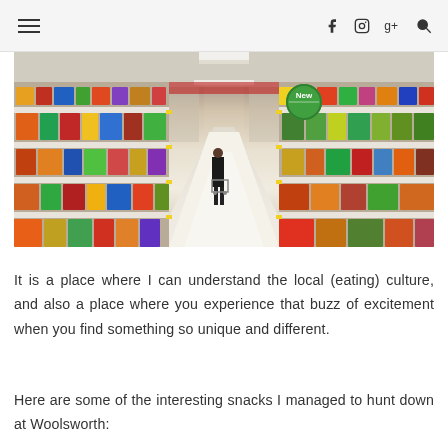☰  f  Instagram  g+  🔍
[Figure (photo): Interior of a supermarket aisle with shelves stacked with colorful packaged food products on both sides, a shopper visible in the distance, and a white tiled floor. A round green 'New' label is visible on the right side shelf.]
It is a place where I can understand the local (eating) culture, and also a place where you experience that buzz of excitement when you find something so unique and different.
Here are some of the interesting snacks I managed to hunt down at Woolsworth: